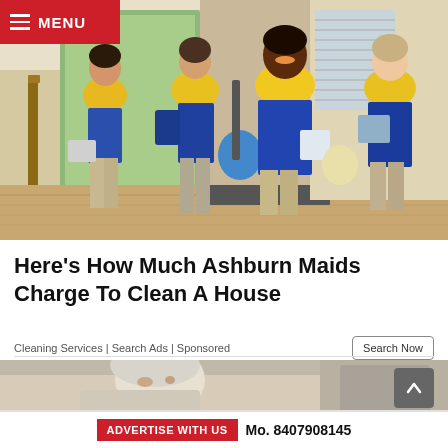MENU
[Figure (photo): Four women in yellow polo shirts and blue aprons, carrying cleaning supplies and a vacuum cleaner, standing in a home entryway. The Maids branding visible on supplies.]
Here's How Much Ashburn Maids Charge To Clean A House
Cleaning Services | Search Ads | Sponsored
[Figure (photo): Elderly person resting on a couch or chair, partial view.]
ADVERTISE WITH US  Mo. 8407908145